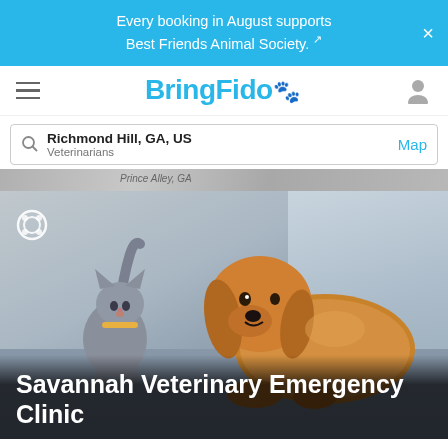Every booking in August supports Best Friends Animal Society.
BringFido
Richmond Hill, GA, US
Veterinarians
Map
[Figure (photo): A gray cat and a golden/red dog touching noses, with a BringFido logo watermark in the top-left corner of the photo]
Savannah Veterinary Emergency Clinic